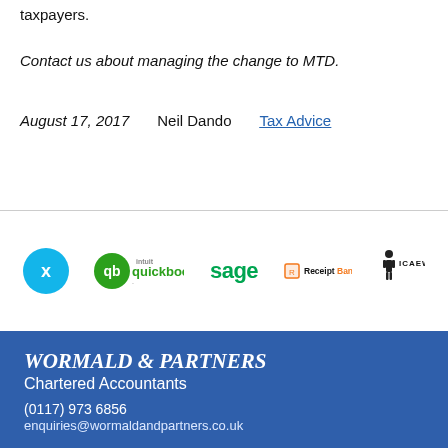taxpayers.
Contact us about managing the change to MTD.
August 17, 2017    Neil Dando    Tax Advice
[Figure (logo): Partner logos: Xero (teal circle with x), Intuit QuickBooks (green QB logo), Sage (green text logo), ReceiptBank (orange/black), ICAEW (black figure with text)]
WORMALD & PARTNERS
Chartered Accountants
(0117) 973 6856
enquiries@wormaldandpartners.co.uk